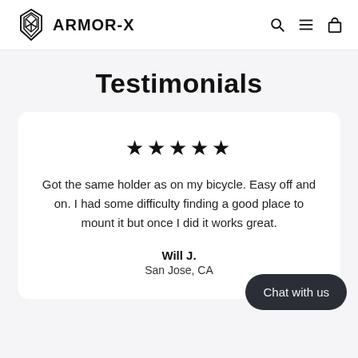ARMOR-X
Testimonials
★★★★★
Got the same holder as on my bicycle. Easy off and on. I had some difficulty finding a good place to mount it but once I did it works great.
Will J.
San Jose, CA